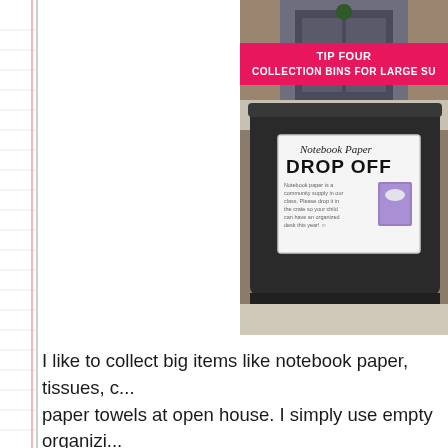[Figure (photo): Photo of a large black plastic collection bin with a white label reading 'Notebook Paper DROP OFF' with small descriptive text and a purple notebook icon. A pink/magenta banner overlay reads 'TIP FOUR COLLECTION BINS FOR LARGE SU...' Background shows a brick house exterior with a dark door.]
I like to collect big items like notebook paper, tissues, c... paper towels at open house. I simply use empty organizi... I already own for this. :)  Having the bins clearly labeled... families check off an item on their checklist easily.